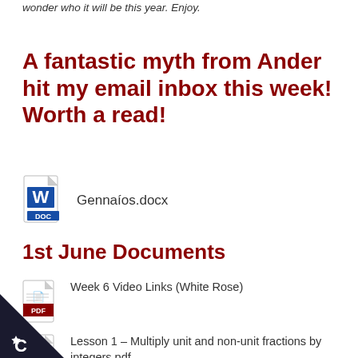wonder who it will be this year. Enjoy.
A fantastic myth from Ander hit my email inbox this week! Worth a read!
[Figure (illustration): Word document icon (.docx file)]
Gennaíos.docx
1st June Documents
[Figure (illustration): PDF icon]
Week 6 Video Links (White Rose)
[Figure (illustration): PDF icon]
Lesson 1 – Multiply unit and non-unit fractions by integers.pdf
[Figure (illustration): PDF icon]
Lesson 2 – Multiply mixed numbers by integers 2019.pdf